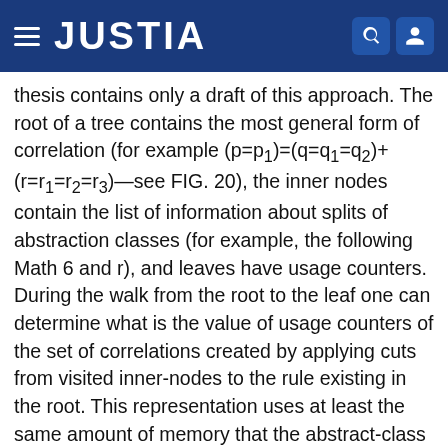JUSTIA
thesis contains only a draft of this approach. The root of a tree contains the most general form of correlation (for example (p=p₁)=(q=q₁=q₂)+(r=r₁=r₂=r₃)—see FIG. 20), the inner nodes contain the list of information about splits of abstraction classes (for example, the following Math 6 and r), and leaves have usage counters. During the walk from the root to the leaf one can determine what is the value of usage counters of the set of correlations created by applying cuts from visited inner-nodes to the rule existing in the root. This representation uses at least the same amount of memory that the abstract-class method does (if there are no inner-nodes) and no more than the combinational method (with respect to the details of implementation of the tree) if only singleton abstraction classes exist. The complexity of this data structure is a cost for its memory